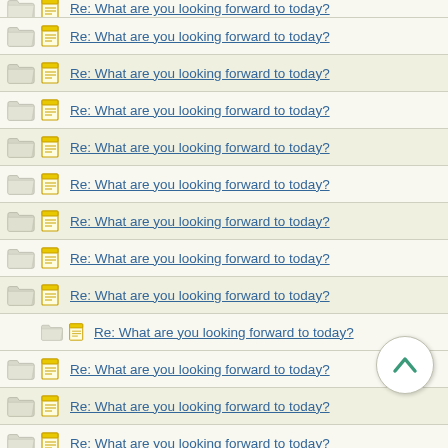Re: What are you looking forward to today?
Re: What are you looking forward to today?
Re: What are you looking forward to today?
Re: What are you looking forward to today?
Re: What are you looking forward to today?
Re: What are you looking forward to today?
Re: What are you looking forward to today?
Re: What are you looking forward to today?
Re: What are you looking forward to today?
Re: What are you looking forward to today? (indented)
Re: What are you looking forward to today?
Re: What are you looking forward to today?
Re: What are you looking forward to today?
Re: What are you looking forward to today?
Re: What are you looking forward to today?
Re: What are you looking forward to today?
Re: What are you looking forward to today?